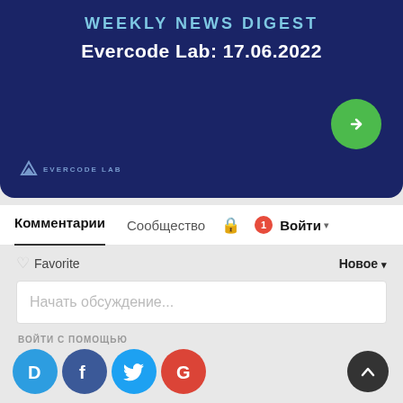[Figure (screenshot): Dark blue banner with 'WEEKLY NEWS DIGEST' title, 'Evercode Lab: 17.06.2022' subtitle, Evercode Lab logo bottom-left, green arrow button bottom-right]
Комментарии   Сообщество   🔒   1   Войти ▾
♡ Favorite   Новое ▾
Начать обсуждение...
ВОЙТИ С ПОМОЩЬЮ
[Figure (logo): Social login icons: Disqus (D), Facebook (f), Twitter bird, Google (G)]
ИЛИ ЧЕРЕЗ DISQUS ?
Имя